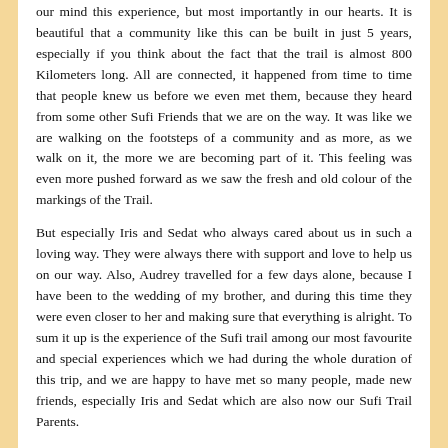our mind this experience, but most importantly in our hearts. It is beautiful that a community like this can be built in just 5 years, especially if you think about the fact that the trail is almost 800 Kilometers long. All are connected, it happened from time to time that people knew us before we even met them, because they heard from some other Sufi Friends that we are on the way. It was like we are walking on the footsteps of a community and as more, as we walk on it, the more we are becoming part of it. This feeling was even more pushed forward as we saw the fresh and old colour of the markings of the Trail.
But especially Iris and Sedat who always cared about us in such a loving way. They were always there with support and love to help us on our way. Also, Audrey travelled for a few days alone, because I have been to the wedding of my brother, and during this time they were even closer to her and making sure that everything is alright. To sum it up is the experience of the Sufi trail among our most favourite and special experiences which we had during the whole duration of this trip, and we are happy to have met so many people, made new friends, especially Iris and Sedat which are also now our Sufi Trail Parents.
Thank you for this amazing experience we will keep it forever in our hearts, and we are looking forward to seeing you in 2020 either in Freiburg, Syria or again on the Sufi Yolu.
Konrad Weberling & Audrey Pouillon